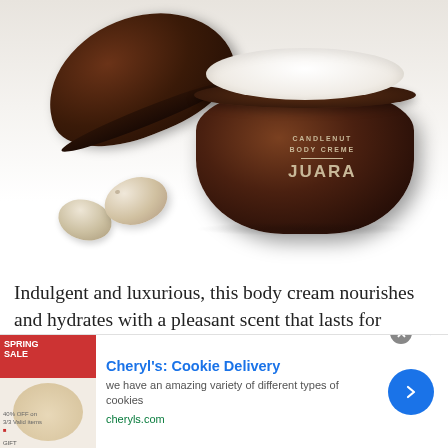[Figure (photo): JUARA Candlenut Body Creme product photo: an open dark amber glass jar filled with white cream, its lid resting open to the left, with two candlenuts (kemiri nuts) in the foreground on a white background.]
Indulgent and luxurious, this body cream nourishes and hydrates with a pleasant scent that lasts for hours. If you're familiar with body
[Figure (photo): Advertisement banner for Cheryl's Cookie Delivery showing cookies and a sale banner image.]
Cheryl's: Cookie Delivery
we have an amazing variety of different types of cookies
cheryls.com